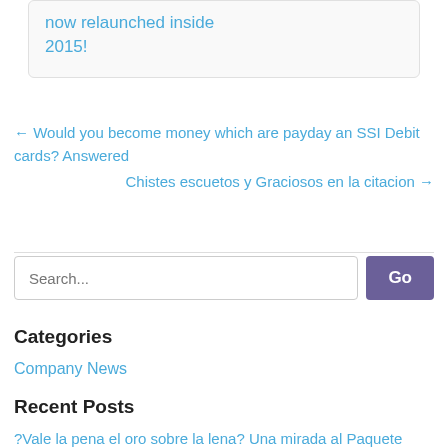now relaunched inside 2015!
← Would you become money which are payday an SSI Debit cards? Answered
Chistes escuetos y Graciosos en la citacion →
Search...
Categories
Company News
Recent Posts
?Vale la pena el oro sobre la lena? Una mirada al Paquete Premium